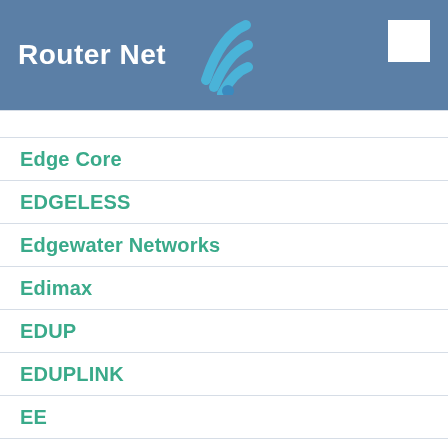Router Net
Edge Core
EDGELESS
Edgewater Networks
Edimax
EDUP
EDUPLINK
EE
eero
EHOME
Elecom